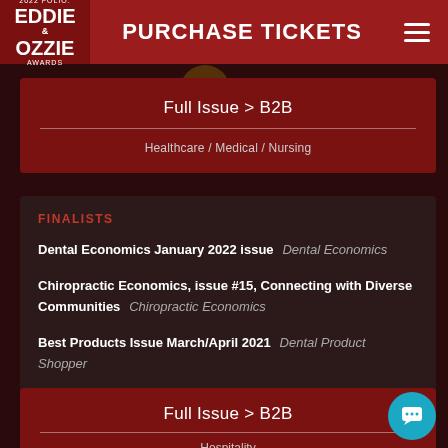PURCHASE TICKETS
Full Issue > B2B
Healthcare / Medical / Nursing
FINALISTS
Dental Economics January 2022 issue   Dental Economics
Chiropractic Economics, issue #15, Connecting with Diverse Communities   Chiropractic Economics
Best Products Issue March/April 2021   Dental Product Shopper
RDH magazine single issue - December 2022   RDH
Full Issue > B2B
Hospitality